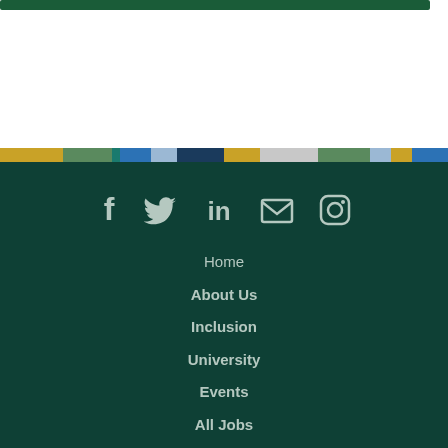[Figure (other): Top white area with partial green bar at top]
[Figure (other): Multicolor horizontal strip with segments: gold, sage green, dark teal, blue, light blue, dark navy, gold, light gray, sage green, light blue, gold, blue]
[Figure (other): Social media icons row: Facebook, Twitter, LinkedIn, Email, Instagram on dark teal background]
Home
About Us
Inclusion
University
Events
All Jobs
Privacy Policy
Terms And Condition
CBIZ Affirmative Action Policy